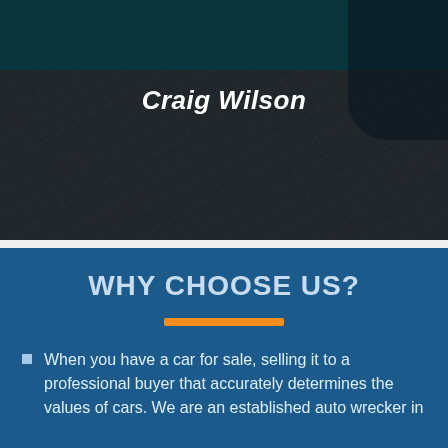[Figure (photo): Dark background photo of a junkyard or auto wrecker yard with machinery and cars visible, overlaid with a dark tint]
Craig Wilson
WHY CHOOSE US?
When you have a car for sale, selling it to a professional buyer that accurately determines the values of cars. We are an established auto wrecker in